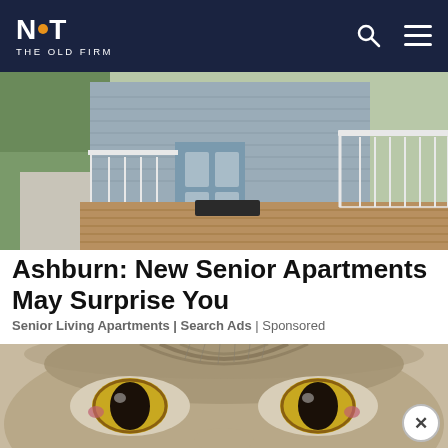NOT THE OLD FIRM
[Figure (photo): Exterior of a house with a wooden deck, ramp/steps, white railings, gray siding, and green yard visible in background]
Ashburn: New Senior Apartments May Surprise You
Senior Living Apartments | Search Ads | Sponsored
[Figure (photo): Close-up of a cat's face showing large golden/amber eyes, tabby markings, and whiskers]